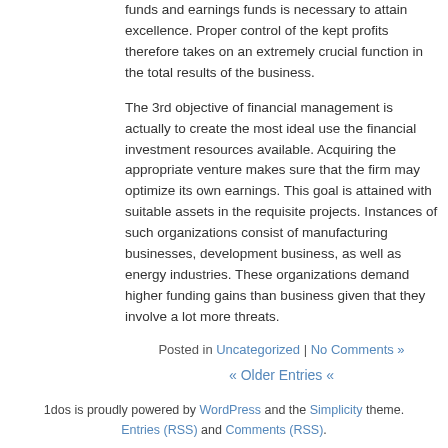funds and earnings funds is necessary to attain excellence. Proper control of the kept profits therefore takes on an extremely crucial function in the total results of the business.
The 3rd objective of financial management is actually to create the most ideal use the financial investment resources available. Acquiring the appropriate venture makes sure that the firm may optimize its own earnings. This goal is attained with suitable assets in the requisite projects. Instances of such organizations consist of manufacturing businesses, development business, as well as energy industries. These organizations demand higher funding gains than business given that they involve a lot more threats.
Posted in Uncategorized | No Comments »
« Older Entries «
1dos is proudly powered by WordPress and the Simplicity theme. Entries (RSS) and Comments (RSS).